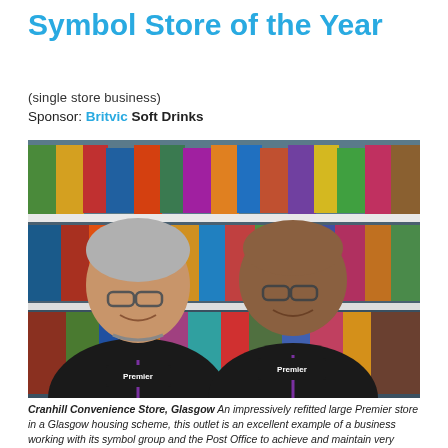Symbol Store of the Year
(single store business)
Sponsor: Britvic Soft Drinks
[Figure (photo): Two men wearing black Premier-branded fleece jackets standing in front of well-stocked retail shelving with various food and snack products. The man on the left is older with grey hair and glasses; the man on the right is bald with glasses. Both are smiling.]
Cranhill Convenience Store, Glasgow An impressively refitted large Premier store in a Glasgow housing scheme, this outlet is an excellent example of a business working with its symbol group and the Post Office to achieve and maintain very